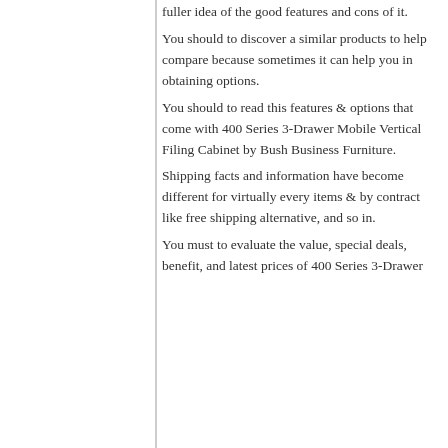fuller idea of the good features and cons of it. You should to discover a similar products to help compare because sometimes it can help you in obtaining options. You should to read this features & options that come with 400 Series 3-Drawer Mobile Vertical Filing Cabinet by Bush Business Furniture. Shipping facts and information have become different for virtually every items & by contract like free shipping alternative, and so in. You must to evaluate the value, special deals, benefit, and latest prices of 400 Series 3-Drawer